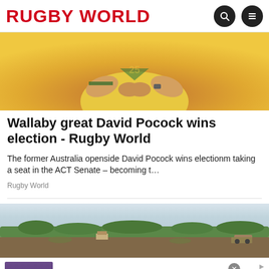RUGBY WORLD
[Figure (photo): Rugby player in yellow Australia jersey holding a ball with both hands, muscular arms visible, blurred yellow/orange background]
Wallaby great David Pocock wins election - Rugby World
The former Australia openside David Pocock wins electionm taking a seat in the ACT Senate – becoming t…
Rugby World
[Figure (photo): Landscape photo showing scrubland/bush with trees on a flat terrain under a light sky]
Wayfair.com - Online Home Store Sale!
Shop for A Zillion Things Home across all styles at Wayfair!
www.wayfair.com